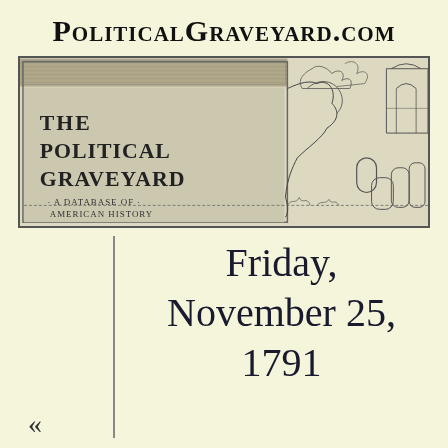PoliticalGraveyard.com
[Figure (illustration): Banner illustration of The Political Graveyard - A Database of American History, showing a graveyard scene with angels, tombstones and gothic architecture rendered in black and white crosshatch style]
Friday, November 25, 1791
«